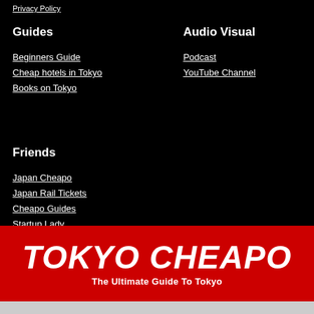Privacy Policy
Guides
Audio Visual
Beginners Guide
Cheap hotels in Tokyo
Books on Tokyo
Podcast
YouTube Channel
Friends
Japan Cheapo
Japan Rail Tickets
Cheapo Guides
Startup Lady
TOKYO CHEAPO
The Ultimate Guide To Tokyo